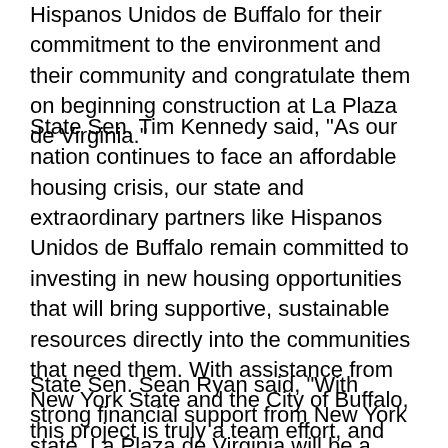Hispanos Unidos de Buffalo for their commitment to the environment and their community and congratulate them on beginning construction at La Plaza de Virginia."
State Sen. Tim Kennedy said, "As our nation continues to face an affordable housing crisis, our state and extraordinary partners like Hispanos Unidos de Buffalo remain committed to investing in new housing opportunities that will bring supportive, sustainable resources directly into the communities that need them. With assistance from New York State and the City of Buffalo, this project is truly a team effort, and I'm thrilled to see the incredible vision of HUB move one step closer to becoming a reality."
State Sen. Sean Ryan said, "With strong financial support from New York state, La Plaza de Virginia will be a transformational development for Buffalo's West Side. By combining affordable housing for seniors with supportive services, a community center, and health